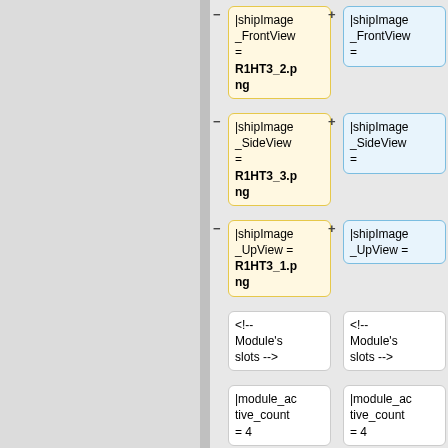[Figure (flowchart): Diff/comparison diagram showing paired yellow (left) and blue (right) code template boxes with attributes: shipImage_FrontView=R1HT3_2.png, shipImage_SideView=R1HT3_3.png, shipImage_UpView=R1HT3_1.png, Module slots comment, module_active_count=4, module_engine_count=2 (partially visible). Left column has minus buttons, right column has plus buttons.]